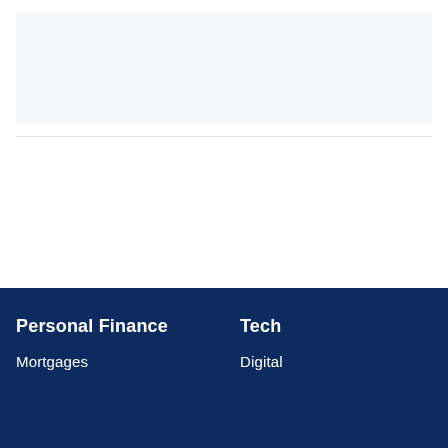[Figure (other): Light gray rectangular placeholder box at the top of the page]
Personal Finance
Mortgages
Tech
Digital